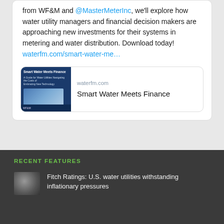from WF&M and @MasterMeterInc, we'll explore how water utility managers and financial decision makers are approaching new investments for their systems in metering and water distribution. Download today! waterfm.com/smart-water-me…
[Figure (screenshot): Link preview card for waterfm.com showing a book cover image for 'Smart Water Meets Finance' alongside the domain name and title text.]
RECENT FEATURES
Fitch Ratings: U.S. water utilities withstanding inflationary pressures